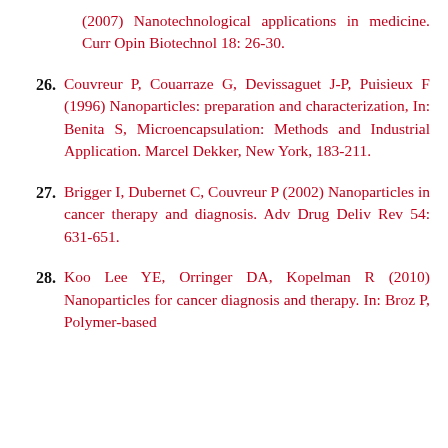(2007) Nanotechnological applications in medicine. Curr Opin Biotechnol 18: 26-30.
26. Couvreur P, Couarraze G, Devissaguet J-P, Puisieux F (1996) Nanoparticles: preparation and characterization, In: Benita S, Microencapsulation: Methods and Industrial Application. Marcel Dekker, New York, 183-211.
27. Brigger I, Dubernet C, Couvreur P (2002) Nanoparticles in cancer therapy and diagnosis. Adv Drug Deliv Rev 54: 631-651.
28. Koo Lee YE, Orringer DA, Kopelman R (2010) Nanoparticles for cancer diagnosis and therapy. In: Broz P, Polymer-based